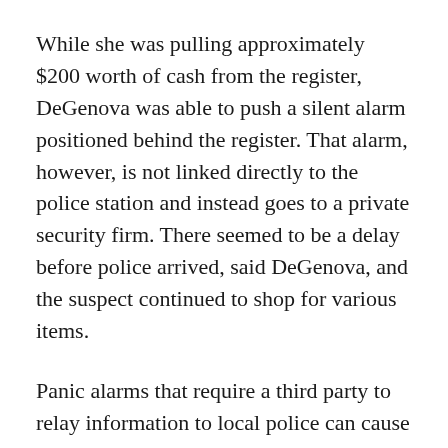While she was pulling approximately $200 worth of cash from the register, DeGenova was able to push a silent alarm positioned behind the register. That alarm, however, is not linked directly to the police station and instead goes to a private security firm. There seemed to be a delay before police arrived, said DeGenova, and the suspect continued to shop for various items.
Panic alarms that require a third party to relay information to local police can cause delays, said Keating, but he was not certain how much time may have passed from when the button was pressed and Forest Park police were notified.
“He did not leave immediately, but instead stayed to